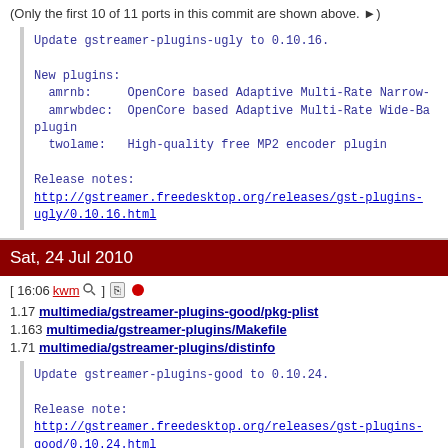(Only the first 10 of 11 ports in this commit are shown above. ▶)
Update gstreamer-plugins-ugly to 0.10.16.

New plugins:
  amrnb:     OpenCore based Adaptive Multi-Rate Narrow-
  amrwbdec:  OpenCore based Adaptive Multi-Rate Wide-Ba
plugin
  twolame:   High-quality free MP2 encoder plugin

Release notes:
http://gstreamer.freedesktop.org/releases/gst-plugins-ugly/0.10.16.html
Sat, 24 Jul 2010
[ 16:06 kwm 🔍 ] ⌨ ●
1.17 multimedia/gstreamer-plugins-good/pkg-plist
1.163 multimedia/gstreamer-plugins/Makefile
1.71 multimedia/gstreamer-plugins/distinfo
Update gstreamer-plugins-good to 0.10.24.

Release note:
http://gstreamer.freedesktop.org/releases/gst-plugins-good/0.10.24.html